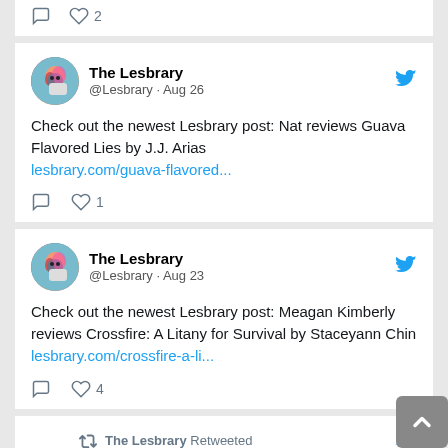[Figure (screenshot): Partial tweet bottom showing comment and heart icons with count 2]
[Figure (screenshot): Tweet by @Lesbrary Aug 26: Check out the newest Lesbrary post: Nat reviews Guava Flavored Lies by J.J. Arias lesbrary.com/guava-flavored... with 1 like]
[Figure (screenshot): Tweet by @Lesbrary Aug 23: Check out the newest Lesbrary post: Meagan Kimberly reviews Crossfire: A Litany for Survival by Staceyann Chin lesbrary.com/crossfire-a-li... with 4 likes]
[Figure (screenshot): Partial tweet: The Lesbrary Retweeted / Malinda Lo with blue verified check]